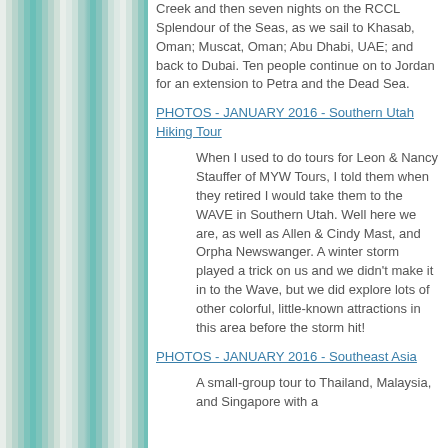Creek and then seven nights on the RCCL Splendour of the Seas, as we sail to Khasab, Oman; Muscat, Oman; Abu Dhabi, UAE; and back to Dubai. Ten people continue on to Jordan for an extension to Petra and the Dead Sea.
PHOTOS - JANUARY 2016 - Southern Utah Hiking Tour
When I used to do tours for Leon & Nancy Stauffer of MYW Tours, I told them when they retired I would take them to the WAVE in Southern Utah. Well here we are, as well as Allen & Cindy Mast, and Orpha Newswanger. A winter storm played a trick on us and we didn't make it in to the Wave, but we did explore lots of other colorful, little-known attractions in this area before the storm hit!
PHOTOS - JANUARY 2016 - Southeast Asia
A small-group tour to Thailand, Malaysia, and Singapore with a